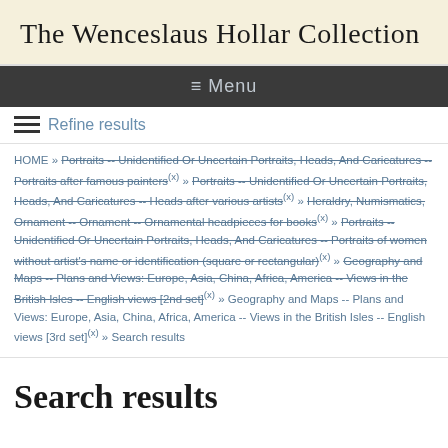The Wenceslaus Hollar Collection
≡ Menu
≡ Refine results
HOME » Portraits -- Unidentified Or Uncertain Portraits, Heads, And Caricatures -- Portraits after famous painters(x) » Portraits -- Unidentified Or Uncertain Portraits, Heads, And Caricatures -- Heads after various artists(x) » Heraldry, Numismatics, Ornament -- Ornament -- Ornamental headpieces for books(x) » Portraits -- Unidentified Or Uncertain Portraits, Heads, And Caricatures -- Portraits of women without artist's name or identification (square or rectangular)(x) » Geography and Maps -- Plans and Views: Europe, Asia, China, Africa, America -- Views in the British Isles -- English views [2nd set](x) » Geography and Maps -- Plans and Views: Europe, Asia, China, Africa, America -- Views in the British Isles -- English views [3rd set](x) » Search results
Search results